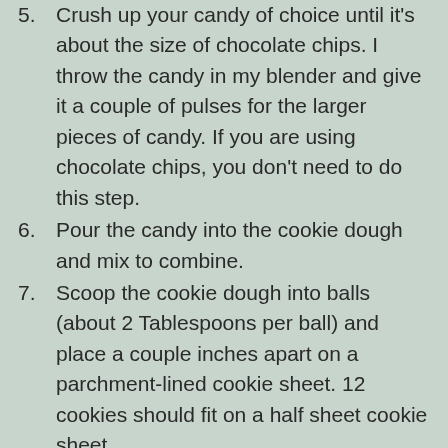5. Crush up your candy of choice until it's about the size of chocolate chips. I throw the candy in my blender and give it a couple of pulses for the larger pieces of candy. If you are using chocolate chips, you don't need to do this step.
6. Pour the candy into the cookie dough and mix to combine.
7. Scoop the cookie dough into balls (about 2 Tablespoons per ball) and place a couple inches apart on a parchment-lined cookie sheet. 12 cookies should fit on a half sheet cookie sheet.
8. Bake at 350 degrees for about 10 minutes. If you are using the convection setting, bake at 325 degrees for 7 ½ minutes. Let cookies cool on the pan about 5 minutes before cooling.
[Figure (photo): Photo on the left side, appears to be a food or kitchen related image with blue/teal tones.]
[Figure (photo): Photo on the right side, appears to be a food or baking related image with warm golden tones.]